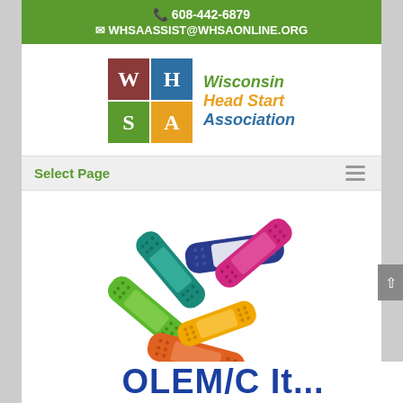📞 608-442-6879 ✉ WHSAASSIST@WHSAONLINE.ORG
[Figure (logo): Wisconsin Head Start Association logo with four colored blocks (W, H, S, A) and text 'Wisconsin Head Start Association' in green, yellow/orange, and blue italic text]
Select Page
[Figure (illustration): Colorful cluster of band-aids/adhesive bandages in green, teal, blue, red/pink, orange, and yellow-orange colors arranged in a circular overlapping pattern]
OLEM/C It...